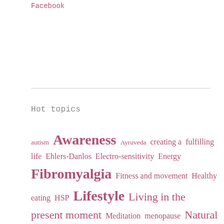Facebook
Hot topics
autism Awareness Ayruveda creating a fulfilling life Ehlers-Danlos Electro-sensitivity Energy Fibromyalgia Fitness and movement Healthy eating HSP Lifestyle Living in the present moment Meditation menopause Natural living nervous system New approaches to age New research Organic food Power of thought psychology Raw diet Recipes Recovery Releasing techniques Research Skin & hair Space